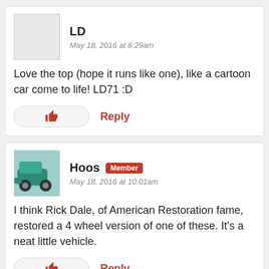LD
May 18, 2016 at 8:29am
Love the top (hope it runs like one), like a cartoon car come to life! LD71 :D
Reply
Hoos
Member
May 18, 2016 at 10:01am
I think Rick Dale, of American Restoration fame, restored a 4 wheel version of one of these. It's a neat little vehicle.
Reply